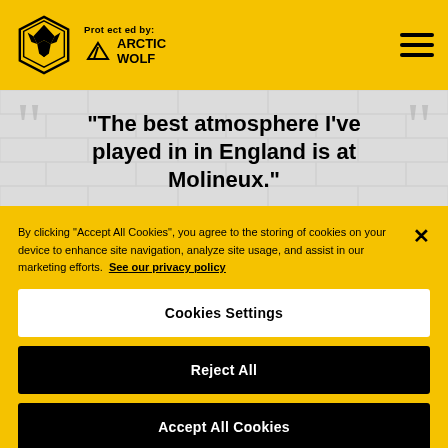Protected by: ARCTIC WOLF
"The best atmosphere I've played in in England is at Molineux."
— Ruben Neves
By clicking "Accept All Cookies", you agree to the storing of cookies on your device to enhance site navigation, analyze site usage, and assist in our marketing efforts. See our privacy policy
Cookies Settings
Reject All
Accept All Cookies